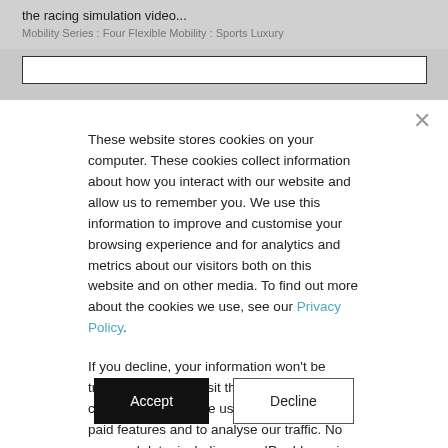the racing simulation video...
Mobility Series : Four Flexible Mobility : Sports Luxury
These website stores cookies on your computer. These cookies collect information about how you interact with our website and allow us to remember you. We use this information to improve and customise your browsing experience and for analytics and metrics about our visitors both on this website and on other media. To find out more about the cookies we use, see our Privacy Policy.
If you decline, your information won't be tracked when you visit this website. We use cookies to enable the use of our platform's paid features and to analyse our traffic. No personal data, including your IP address, is stored and we do not sell data to third parties.